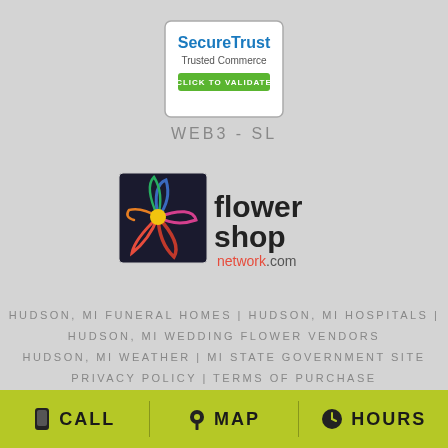[Figure (logo): SecureTrust Trusted Commerce CLICK TO VALIDATE badge]
WEB3-SL
[Figure (logo): Flower Shop Network.com logo with colorful flower graphic]
HUDSON, MI FUNERAL HOMES | HUDSON, MI HOSPITALS | HUDSON, MI WEDDING FLOWER VENDORS
HUDSON, MI WEATHER | MI STATE GOVERNMENT SITE
PRIVACY POLICY | TERMS OF PURCHASE
CALL   MAP   HOURS